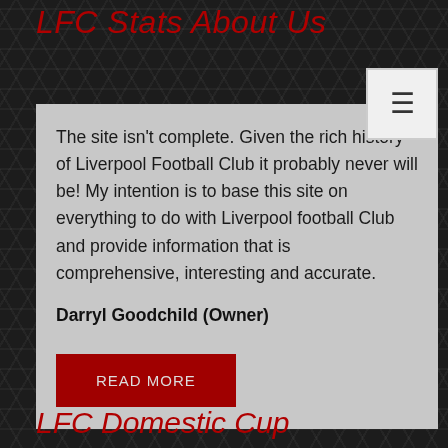LFC Stats About Us
The site isn't complete. Given the rich history of Liverpool Football Club it probably never will be! My intention is to base this site on everything to do with Liverpool football Club and provide information that is comprehensive, interesting and accurate.
Darryl Goodchild (Owner)
READ MORE
LFC Domestic Cup